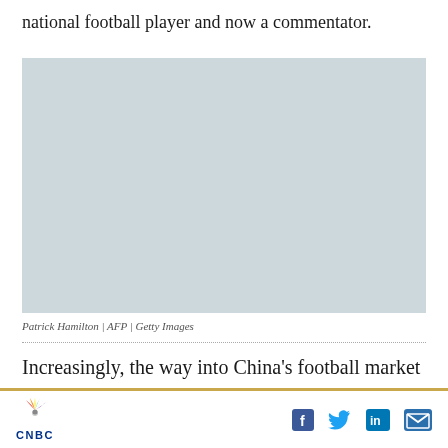national football player and now a commentator.
[Figure (photo): Placeholder image with light blue-grey background, representing a photo of a national football player and commentator. Credit: Patrick Hamilton / AFP / Getty Images]
Patrick Hamilton / AFP / Getty Images
Increasingly, the way into China's football market
CNBC logo and social media icons (Facebook, Twitter, LinkedIn, Email)